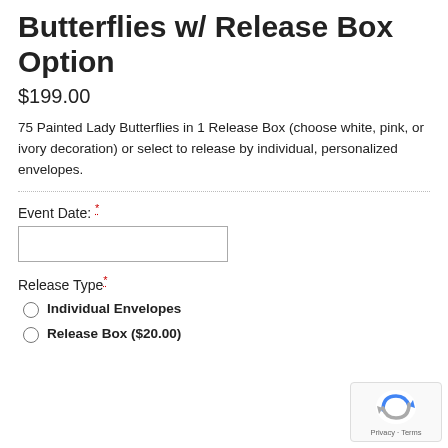Butterflies w/ Release Box Option
$199.00
75 Painted Lady Butterflies in 1 Release Box (choose white, pink, or ivory decoration) or select to release by individual, personalized envelopes.
Event Date: *
Release Type: *
Individual Envelopes
Release Box ($20.00)